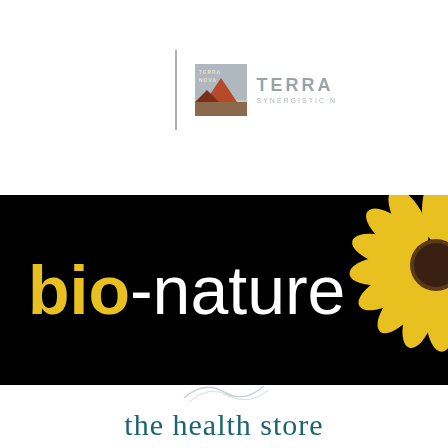[Figure (logo): Terra Nova Synergistic N logo with vertical grey line separator, square icon with red/terracotta mountain shape and text TERRA NOVA, followed by text TERRA SYNERGISTIC N]
[Figure (logo): Bio-nature logo on black background banner. 'bio' in bold yellow/gold text, '-nature' in white light-weight text, sunflower silhouette in yellow on the right side]
[Figure (logo): The health store logo in teal/dark cyan serif font with decorative swirl graphic above the text]